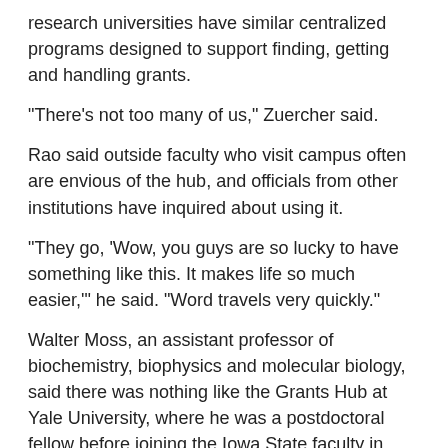research universities have similar centralized programs designed to support finding, getting and handling grants.
"There's not too many of us," Zuercher said.
Rao said outside faculty who visit campus often are envious of the hub, and officials from other institutions have inquired about using it.
"They go, 'Wow, you guys are so lucky to have something like this. It makes life so much easier,'" he said. "Word travels very quickly."
Walter Moss, an assistant professor of biochemistry, biophysics and molecular biology, said there was nothing like the Grants Hub at Yale University, where he was a postdoctoral fellow before joining the Iowa State faculty in August 2016.
"No one was actually there to help you," he said. "They would tell you what is wrong, but they wouldn't tell you how to fix it."